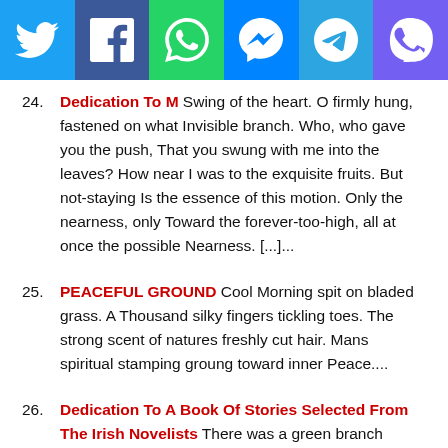[Figure (other): Social media sharing bar with Twitter, Facebook, WhatsApp, Messenger, Telegram, and Viber icons]
24. Dedication To M Swing of the heart. O firmly hung, fastened on what Invisible branch. Who, who gave you the push, That you swung with me into the leaves? How near I was to the exquisite fruits. But not-staying Is the essence of this motion. Only the nearness, only Toward the forever-too-high, all at once the possible Nearness. [...]...
25. PEACEFUL GROUND Cool Morning spit on bladed grass. A Thousand silky fingers tickling toes. The strong scent of natures freshly cut hair. Mans spiritual stamping groung toward inner Peace....
26. Dedication To A Book Of Stories Selected From The Irish Novelists There was a green branch